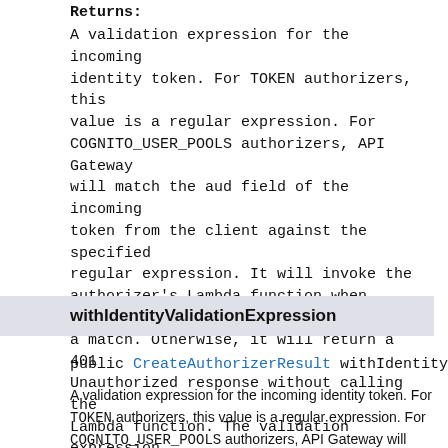Returns:
A validation expression for the incoming identity token. For TOKEN authorizers, this value is a regular expression. For COGNITO_USER_POOLS authorizers, API Gateway will match the aud field of the incoming token from the client against the specified regular expression. It will invoke the authorizer's Lambda function when there is a match. Otherwise, it will return a 401 Unauthorized response without calling the Lambda function. The validation expression does not apply to the REQUEST authorizer.
withIdentityValidationExpression
public CreateAuthorizerResult withIdentityValidat…
A validation expression for the incoming identity token. For TOKEN authorizers, this value is a regular expression. For COGNITO_USER_POOLS authorizers, API Gateway will match the aud field of the incoming token from the client